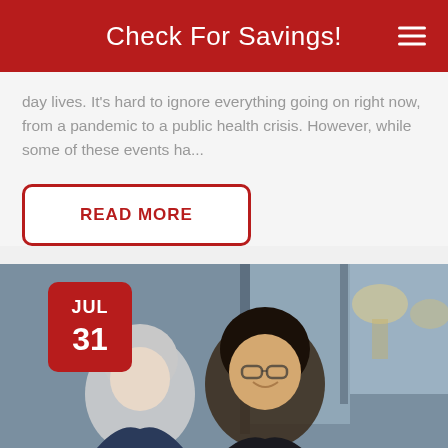Check For Savings!
day lives. It's hard to ignore everything going on right now, from a pandemic to a public health crisis. However, while some of these events ha...
READ MORE
[Figure (photo): Two women, one with gray hair and one with dark hair wearing glasses, smiling and looking down at something together in a cafe/office setting with blurred background. Date badge shows JUL 31.]